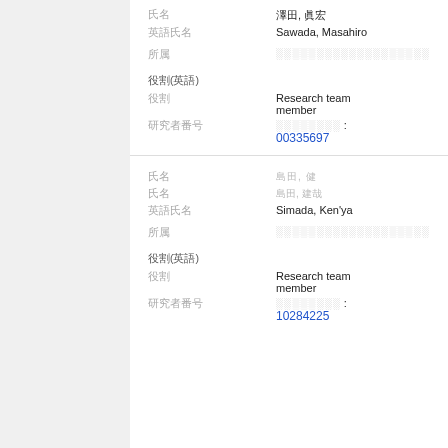氏名 (English): 澤田, 眞宏 / Sawada, Masahiro
所属: [Japanese characters]
役割(英語): 役割: Research team member
研究者番号: [Japanese characters] : 00335697
氏名: 島田, 健 / 島田, 建哉 / Simada, Ken'ya
所属: [Japanese characters]
役割(英語): 役割: Research team member
研究者番号: [Japanese characters] : 10284225